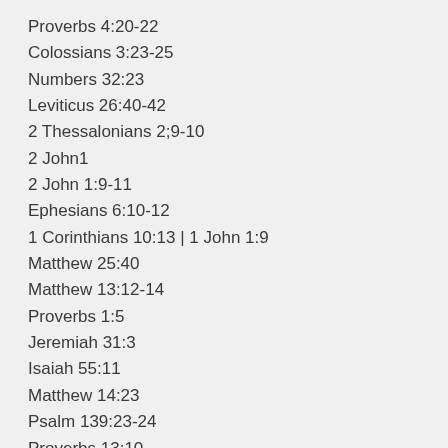Proverbs 4:20-22
Colossians 3:23-25
Numbers 32:23
Leviticus 26:40-42
2 Thessalonians 2;9-10
2 John1
2 John 1:9-11
Ephesians 6:10-12
1 Corinthians 10:13 | 1 John 1:9
Matthew 25:40
Matthew 13:12-14
Proverbs 1:5
Jeremiah 31:3
Isaiah 55:11
Matthew 14:23
Psalm 139:23-24
Proverbs 13:10